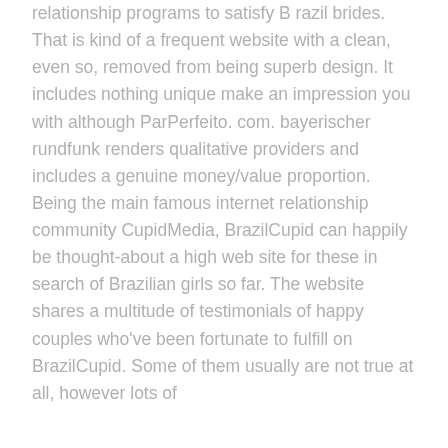relationship programs to satisfy B razil brides. That is kind of a frequent website with a clean, even so, removed from being superb design. It includes nothing unique make an impression you with although ParPerfeito. com. bayerischer rundfunk renders qualitative providers and includes a genuine money/value proportion. Being the main famous internet relationship community CupidMedia, BrazilCupid can happily be thought-about a high web site for these in search of Brazilian girls so far. The website shares a multitude of testimonials of happy couples who've been fortunate to fulfill on BrazilCupid. Some of them usually are not true at all, however lots of